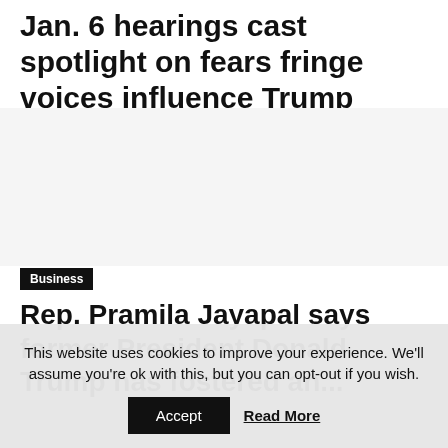Jan. 6 hearings cast spotlight on fears fringe voices influence Trump
[Figure (photo): Image placeholder area (light gray background)]
Business
Rep. Pramila Jayapal says former President Donald Trump has fostered an...
This website uses cookies to improve your experience. We'll assume you're ok with this, but you can opt-out if you wish.
Accept   Read More